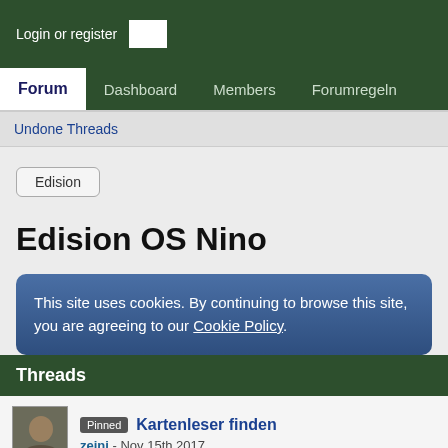Login or register
Forum | Dashboard | Members | Forumregeln
Undone Threads
Edision
Edision OS Nino
This site uses cookies. By continuing to browse this site, you are agreeing to our Cookie Policy.
Threads
Pinned Kartenleser finden — zeini - Nov 15th 2017
Pinned Flashanleitung Edision OS Nino mit USB-Stick — Googgi - Nov 15th 2017
OS Nino Zappen